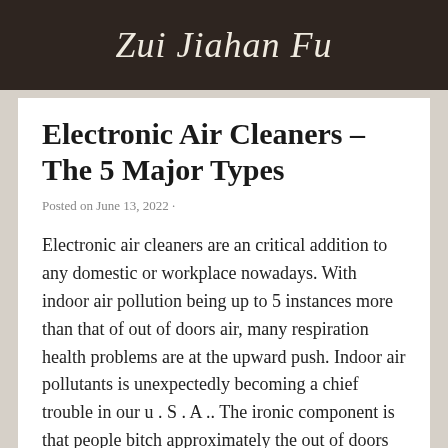Zui Jiahan Fu
Electronic Air Cleaners – The 5 Major Types
Posted on June 13, 2022 ·
Electronic air cleaners are an critical addition to any domestic or workplace nowadays. With indoor air pollution being up to 5 instances more than that of out of doors air, many respiration health problems are at the upward push. Indoor air pollutants is unexpectedly becoming a chief trouble in our u . S . A .. The ironic component is that people bitch approximately the out of doors air pollution mentioning they are not able to go outside due to the terrible first-rate air, while the air outdoor